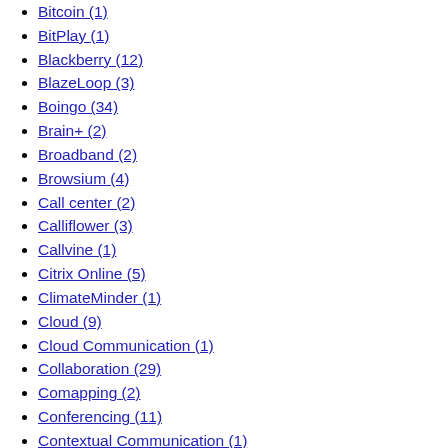Bitcoin (1)
BitPlay (1)
Blackberry (12)
BlazeLoop (3)
Boingo (34)
Brain+ (2)
Broadband (2)
Browsium (4)
Call center (2)
Calliflower (3)
Callvine (1)
Citrix Online (5)
ClimateMinder (1)
Cloud (9)
Cloud Communication (1)
Collaboration (29)
Comapping (2)
Conferencing (11)
Contextual Communication (1)
CounterPath (40)
Covad (1)
CRM (7)
Current Affairs (1)
Developers (4)
Diversinet (32)